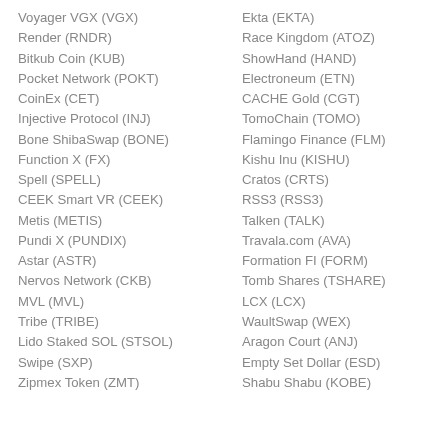Voyager VGX (VGX)
Render (RNDR)
Bitkub Coin (KUB)
Pocket Network (POKT)
CoinEx (CET)
Injective Protocol (INJ)
Bone ShibaSwap (BONE)
Function X (FX)
Spell (SPELL)
CEEK Smart VR (CEEK)
Metis (METIS)
Pundi X (PUNDIX)
Astar (ASTR)
Nervos Network (CKB)
MVL (MVL)
Tribe (TRIBE)
Lido Staked SOL (STSOL)
Swipe (SXP)
Zipmex Token (ZMT)
Ekta (EKTA)
Race Kingdom (ATOZ)
ShowHand (HAND)
Electroneum (ETN)
CACHE Gold (CGT)
TomoChain (TOMO)
Flamingo Finance (FLM)
Kishu Inu (KISHU)
Cratos (CRTS)
RSS3 (RSS3)
Talken (TALK)
Travala.com (AVA)
Formation FI (FORM)
Tomb Shares (TSHARE)
LCX (LCX)
WaultSwap (WEX)
Aragon Court (ANJ)
Empty Set Dollar (ESD)
Shabu Shabu (KOBE)